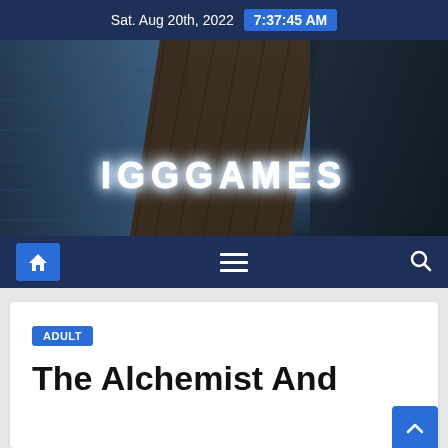Sat. Aug 20th, 2022  7:37:45 AM
[Figure (screenshot): IGGGAMES website hero banner showing city skyscrapers from below with the text IGGGAMES in glowing white letters]
[Figure (other): Navigation bar with home icon, hamburger menu, and search icon on dark blue background]
ADULT
The Alchemist And